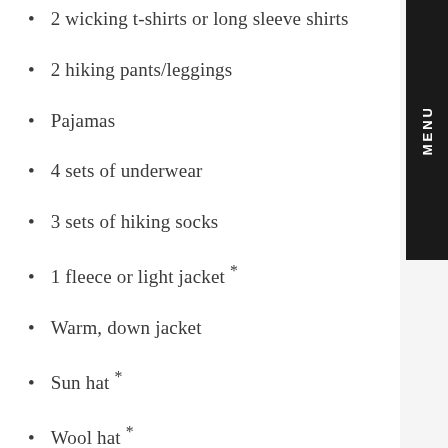2 wicking t-shirts or long sleeve shirts
2 hiking pants/leggings
Pajamas
4 sets of underwear
3 sets of hiking socks
1 fleece or light jacket *
Warm, down jacket
Sun hat *
Wool hat *
Waterproof gloves *
Comfortable shoes for camp